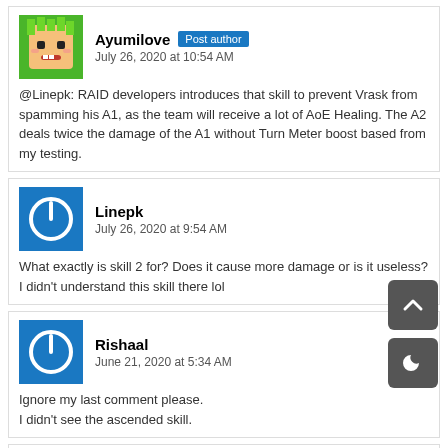Ayumilove Post author
July 26, 2020 at 10:54 AM
@Linepk: RAID developers introduces that skill to prevent Vrask from spamming his A1, as the team will receive a lot of AoE Healing. The A2 deals twice the damage of the A1 without Turn Meter boost based from my testing.
Linepk
July 26, 2020 at 9:54 AM
What exactly is skill 2 for? Does it cause more damage or is it useless? I didn't understand this skill there lol
Rishaal
June 21, 2020 at 5:34 AM
Ignore my last comment please.
I didn't see the ascended skill.
Ayumilove Post author
June 20, 2020 at 11:10 AM
@Rishaal: You need to ascend Vrask (change his stars from Yellow to Purple) to unlock the additional skill benefit (heal all allies).